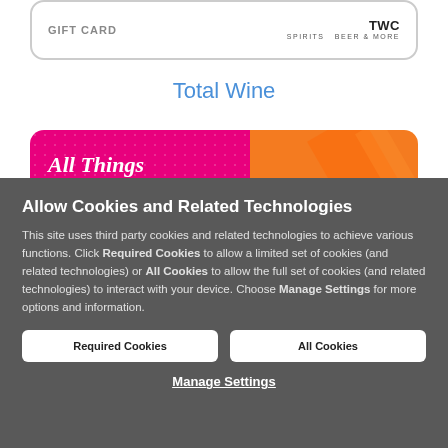[Figure (illustration): Gift card graphic with GIFT CARD label on left and Total Wine Spirits Beer & More brand logo on right, inside a rounded rectangle border]
Total Wine
[Figure (illustration): Colorful gift card with 'All Things' scripted logo on magenta/pink background with dot pattern on left and orange background with diagonal stripe on right]
Allow Cookies and Related Technologies
This site uses third party cookies and related technologies to achieve various functions. Click Required Cookies to allow a limited set of cookies (and related technologies) or All Cookies to allow the full set of cookies (and related technologies) to interact with your device. Choose Manage Settings for more options and information.
Required Cookies
All Cookies
Manage Settings